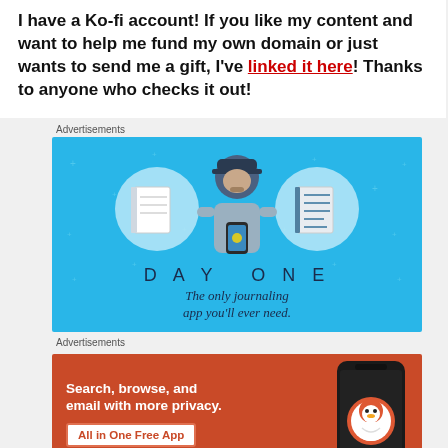I have a Ko-fi account! If you like my content and want to help me fund my own domain or just wants to send me a gift, I've linked it here! Thanks to anyone who checks it out!
Advertisements
[Figure (illustration): Day One journaling app advertisement on blue background with illustrated person holding a phone, flanked by notebook icons. Text reads 'DAY ONE - The only journaling app you'll ever need.']
Advertisements
[Figure (illustration): DuckDuckGo advertisement on orange/red background. Text reads 'Search, browse, and email with more privacy. All in One Free App' with a phone image and DuckDuckGo logo.]